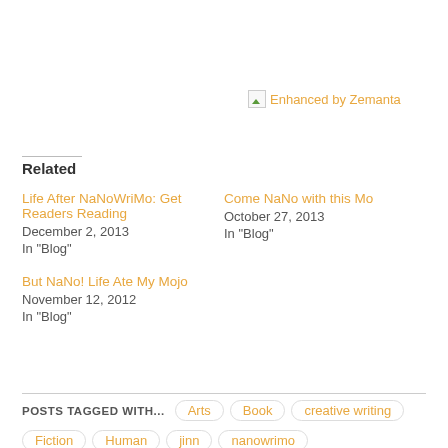[Figure (other): Broken image icon followed by 'Enhanced by Zemanta' text in orange]
Related
Life After NaNoWriMo: Get Readers Reading
December 2, 2013
In "Blog"
Come NaNo with this Mo
October 27, 2013
In "Blog"
But NaNo! Life Ate My Mojo
November 12, 2012
In "Blog"
POSTS TAGGED WITH...
Arts
Book
creative writing
Fiction
Human
jinn
nanowrimo